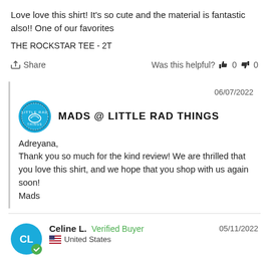Love love this shirt! It's so cute and the material is fantastic also!! One of our favorites
THE ROCKSTAR TEE - 2T
Share   Was this helpful?  0  0
06/07/2022
MADS @ LITTLE RAD THINGS
Adreyana,
Thank you so much for the kind review! We are thrilled that you love this shirt, and we hope that you shop with us again soon!
Mads
Celine L.  Verified Buyer   05/11/2022
United States